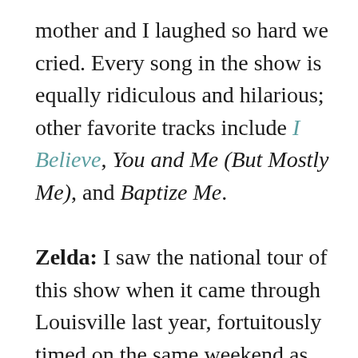mother and I laughed so hard we cried. Every song in the show is equally ridiculous and hilarious; other favorite tracks include I Believe, You and Me (But Mostly Me), and Baptize Me.
Zelda: I saw the national tour of this show when it came through Louisville last year, fortuitously timed on the same weekend as my brother's high school graduation. It was particularly lucky because, as Scout said, getting tickets for the New York production is nigh impossible, and horrifically